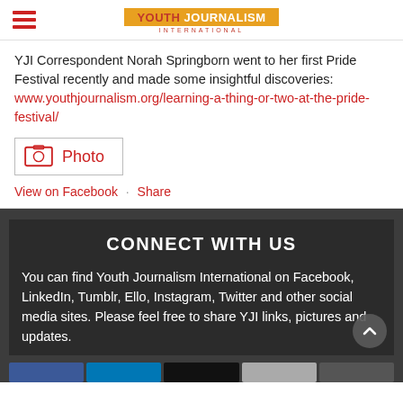Youth Journalism International
YJI Correspondent Norah Springborn went to her first Pride Festival recently and made some insightful discoveries: www.youthjournalism.org/learning-a-thing-or-two-at-the-pride-festival/
[Figure (photo): Photo icon placeholder box labeled 'Photo']
View on Facebook · Share
CONNECT WITH US
You can find Youth Journalism International on Facebook, LinkedIn, Tumblr, Ello, Instagram, Twitter and other social media sites. Please feel free to share YJI links, pictures and updates.